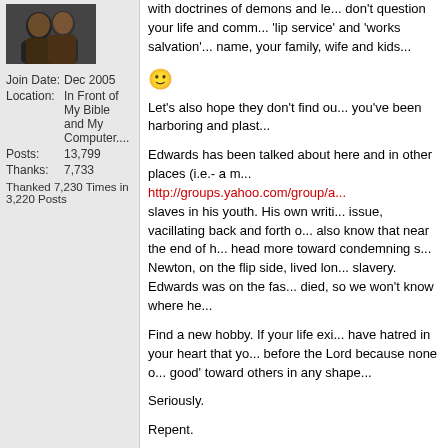[Figure (photo): Profile avatar photo of two people]
Join Date: Dec 2005
Location: In Front of My Bible and My Computer....
Posts: 13,799
Thanks: 7,733
Thanked 7,230 Times in 3,220 Posts
with doctrines of demons and le... don't question your life and comm... 'lip service' and 'works salvation'... name, your family, wife and kids...
😊
Let's also hope they don't find ou... you've been harboring and plast...
Edwards has been talked about here and in other places (i.e.- a m... http://groups.yahoo.com/group/a... slaves in his youth. His own writi... issue, vacillating back and forth o... also know that near the end of h... head more toward condemning s... Newton, on the flip side, lived lon... slavery. Edwards was on the fas... died, so we won't know where he...
Find a new hobby. If your life exi... have hatred in your heart that yo... before the Lord because none o... good' toward others in any shape...
Seriously.
Repent.